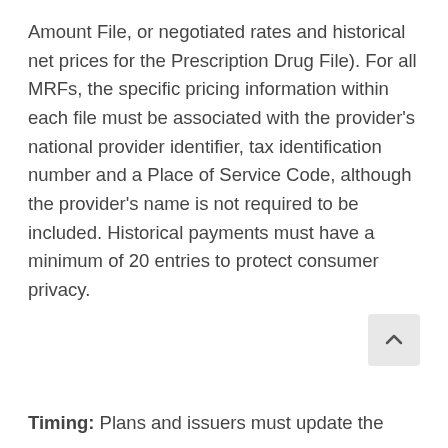Amount File, or negotiated rates and historical net prices for the Prescription Drug File). For all MRFs, the specific pricing information within each file must be associated with the provider's national provider identifier, tax identification number and a Place of Service Code, although the provider's name is not required to be included. Historical payments must have a minimum of 20 entries to protect consumer privacy.
Timing: Plans and issuers must update the